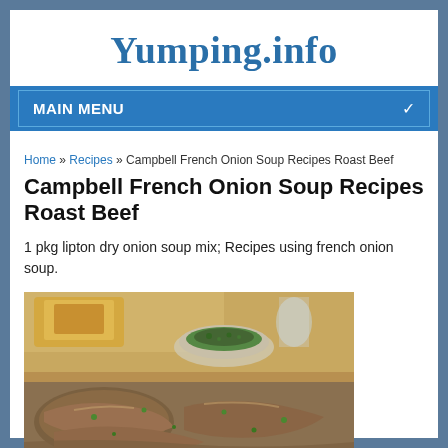Yumping.info
MAIN MENU
Home » Recipes » Campbell French Onion Soup Recipes Roast Beef
Campbell French Onion Soup Recipes Roast Beef
1 pkg lipton dry onion soup mix; Recipes using french onion soup.
[Figure (photo): Photo of a roast beef dish with french onion soup sauce, garnished with herbs, with a bowl of sauce and glasses visible in the background]